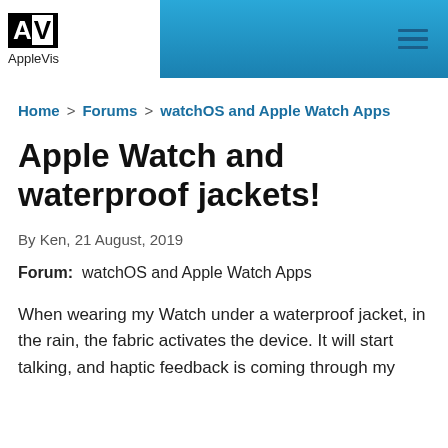AppleVis
Home > Forums > watchOS and Apple Watch Apps
Apple Watch and waterproof jackets!
By Ken, 21 August, 2019
Forum: watchOS and Apple Watch Apps
When wearing my Watch under a waterproof jacket, in the rain, the fabric activates the device. It will start talking, and haptic feedback is coming through my